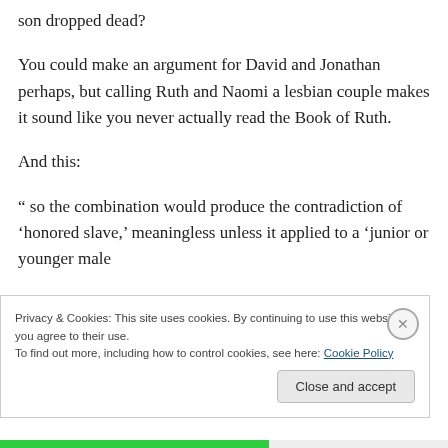son dropped dead?
You could make an argument for David and Jonathan perhaps, but calling Ruth and Naomi a lesbian couple makes it sound like you never actually read the Book of Ruth.
And this:
“ so the combination would produce the contradiction of ‘honored slave,’ meaningless unless it applied to a ‘junior or younger male
Privacy & Cookies: This site uses cookies. By continuing to use this website, you agree to their use.
To find out more, including how to control cookies, see here: Cookie Policy